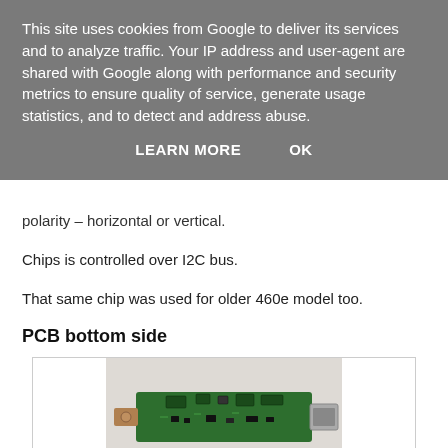This site uses cookies from Google to deliver its services and to analyze traffic. Your IP address and user-agent are shared with Google along with performance and security metrics to ensure quality of service, generate usage statistics, and to detect and address abuse.
LEARN MORE   OK
polarity – horizontal or vertical.
Chips is controlled over I2C bus.
That same chip was used for older 460e model too.
PCB bottom side
[Figure (photo): Photo of a PCB (printed circuit board) bottom side, showing a green rectangular board with electronic components, an SMA connector on the left end and a USB connector on the right end, placed on a white/grey surface.]